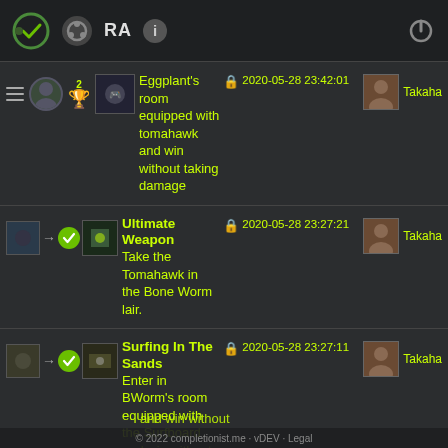Completionist.me app header navigation bar
Eggplant's room equipped with tomahawk and win without taking damage | 2020-05-28 23:42:01 | Takaha
Ultimate Weapon - Take the Tomahawk in the Bone Worm lair. | 2020-05-28 23:27:21 | Takaha
Surfing In The Sands - Enter in BWorm's room equipped with the Surfboard and win without | 2020-05-28 23:27:11 | Takaha
© 2022 completionist.me · vDEV · Legal